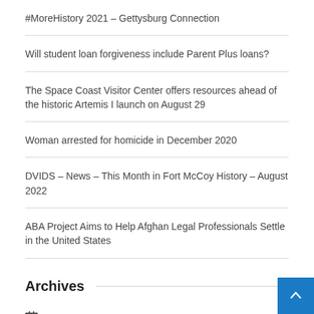#MoreHistory 2021 – Gettysburg Connection
Will student loan forgiveness include Parent Plus loans?
The Space Coast Visitor Center offers resources ahead of the historic Artemis I launch on August 29
Woman arrested for homicide in December 2020
DVIDS – News – This Month in Fort McCoy History – August 2022
ABA Project Aims to Help Afghan Legal Professionals Settle in the United States
Archives
August 2022
July 2022